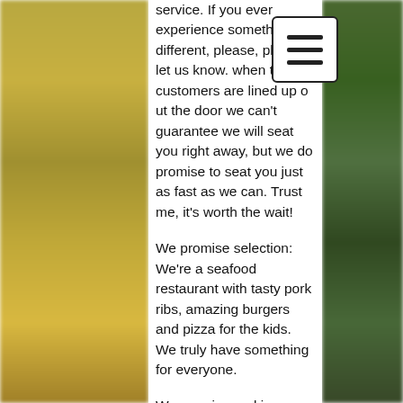service. If you ever experience something different, please, please, let us know. when the customers are lined up out the door we can't guarantee we will seat you right away, but we do promise to seat you just as fast as we can. Trust me, it's worth the wait!
We promise selection: We're a seafood restaurant with tasty pork ribs, amazing burgers and pizza for the kids. We truly have something for everyone.
We promise parking: We're lucky to have the largest parking lot on the beach, with plenty of extra spaces adjacent to our restaurant.
We promise great tasting food: At nineteen Bret started cooking for a seafood restaurant in North Carolina. Who would have guessed the outcome?